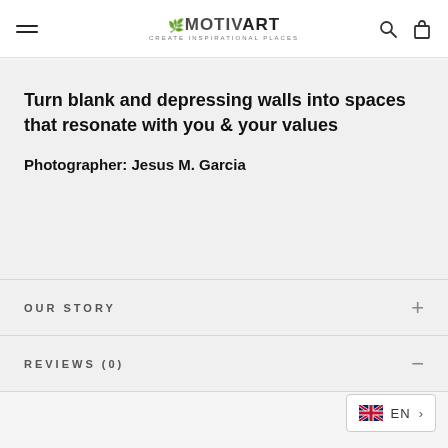MOTIVART — CREATE INSPIRATIONAL PLACES
Turn blank and depressing walls into spaces that resonate with you & your values
Photographer: Jesus M. Garcia
OUR STORY
REVIEWS (0)